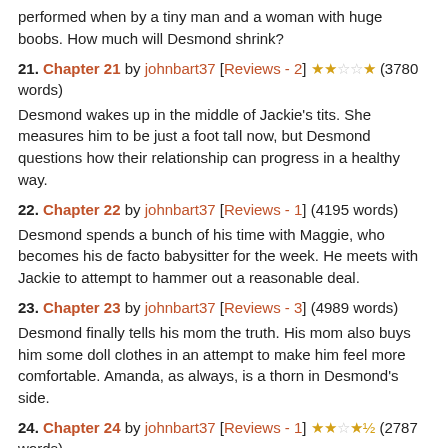performed when by a tiny man and a woman with huge boobs. How much will Desmond shrink?
21. Chapter 21 by johnbart37 [Reviews - 2] ★★☆☆★ (3780 words)
Desmond wakes up in the middle of Jackie's tits. She measures him to be just a foot tall now, but Desmond questions how their relationship can progress in a healthy way.
22. Chapter 22 by johnbart37 [Reviews - 1] (4195 words)
Desmond spends a bunch of his time with Maggie, who becomes his de facto babysitter for the week. He meets with Jackie to attempt to hammer out a reasonable deal.
23. Chapter 23 by johnbart37 [Reviews - 3] (4989 words)
Desmond finally tells his mom the truth. His mom also buys him some doll clothes in an attempt to make him feel more comfortable. Amanda, as always, is a thorn in Desmond's side.
24. Chapter 24 by johnbart37 [Reviews - 1] ★★☆★½ (2787 words)
There finally comes a turning point in Amanda's relationship with her Mom. Jackie still looms large, and Desmond brainstorms a way to get back to his normal size.